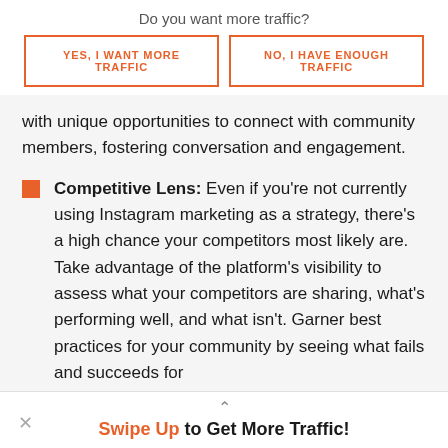Do you want more traffic?
YES, I WANT MORE TRAFFIC
NO, I HAVE ENOUGH TRAFFIC
with unique opportunities to connect with community members, fostering conversation and engagement.
Competitive Lens: Even if you're not currently using Instagram marketing as a strategy, there's a high chance your competitors most likely are. Take advantage of the platform's visibility to assess what your competitors are sharing, what's performing well, and what isn't. Garner best practices for your community by seeing what fails and succeeds for
Swipe Up to Get More Traffic!